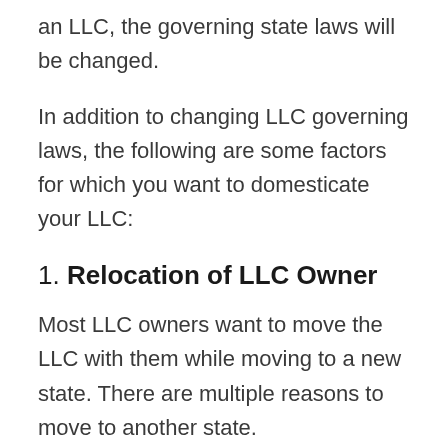an LLC, the governing state laws will be changed.
In addition to changing LLC governing laws, the following are some factors for which you want to domesticate your LLC:
1. Relocation of LLC Owner
Most LLC owners want to move the LLC with them while moving to a new state. There are multiple reasons to move to another state.